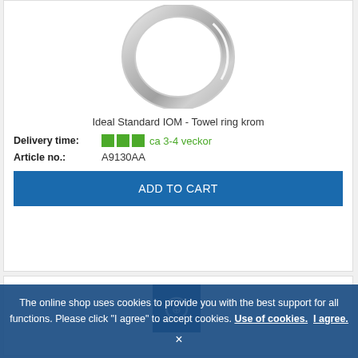[Figure (photo): Chrome towel ring product photo against white background]
Ideal Standard IOM - Towel ring krom
Delivery time: ■■■ ca 3-4 veckor
Article no.: A9130AA
ADD TO CART
[Figure (logo): Partially visible second product card with blue icon]
The online shop uses cookies to provide you with the best support for all functions. Please click "I agree" to accept cookies. Use of cookies. I agree.